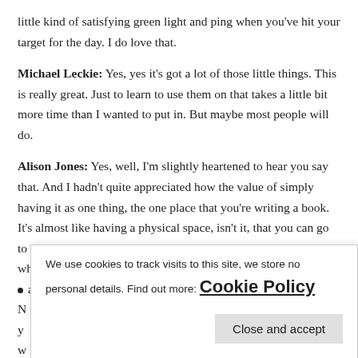little kind of satisfying green light and ping when you've hit your target for the day. I do love that.
Michael Leckie: Yes, yes it's got a lot of those little things. This is really great. Just to learn to use them on that takes a little bit more time than I wanted to put in. But maybe most people will do.
Alison Jones: Yes, well, I'm slightly heartened to hear you say that. And I hadn't quite appreciated how the value of simply having it as one thing, the one place that you're writing a book. It's almost like having a physical space, isn't it, that you can go to or a soundtrack, or just those things that tell your brain, this is what we're doing now a[nd we're going to focus. The browser also suggests…]
We use cookies to track visits to this site, we store no personal details. Find out more: Cookie Policy
Close and accept